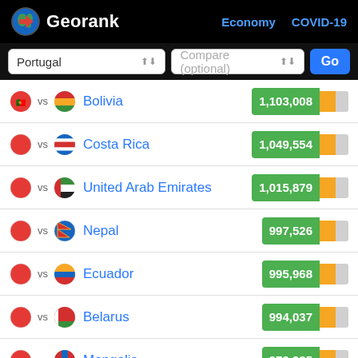Georank — Economy COVID-19
Portugal vs Bolivia 1,103,008
Portugal vs Costa Rica 1,049,554
Portugal vs United Arab Emirates 1,015,879
Portugal vs Nepal 997,526
Portugal vs Ecuador 995,968
Portugal vs Belarus 994,037
Portugal vs Mongolia 979,985